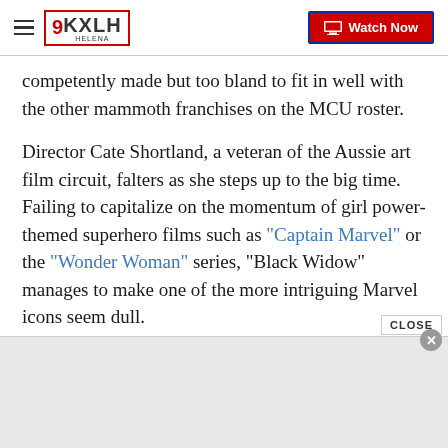9KXLH Helena | Watch Now
competently made but too bland to fit in well with the other mammoth franchises on the MCU roster.
Director Cate Shortland, a veteran of the Aussie art film circuit, falters as she steps up to the big time. Failing to capitalize on the momentum of girl power-themed superhero films such as "Captain Marvel" or the "Wonder Woman" series, "Black Widow" manages to make one of the more intriguing Marvel icons seem dull.